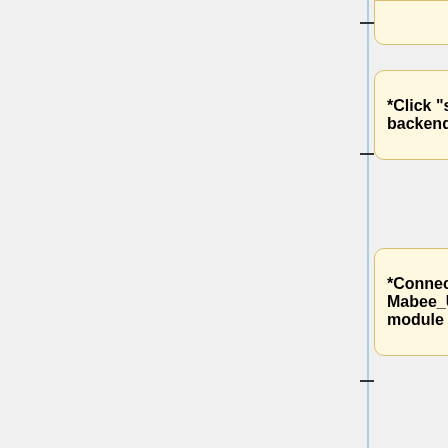*Click "stop" to restart the backend.<br>
*Connect the Mabee_Ultrasonic Ranging module to the CN6 port.
*Open the code "Project-6-HC-SR04_distance.py" in Thonny.<br>
*Click button "RUN" to run this script.
*The Ranging value will be